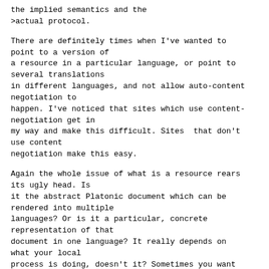the implied semantics and the
>actual protocol.
There are definitely times when I've wanted to
point to a version of
a resource in a particular language, or point to
several translations
in different languages, and not allow auto-content
negotiation to
happen. I've noticed that sites which use content-
negotiation get in
my way and make this difficult. Sites  that don't
use content
negotiation make this easy.
Again the whole issue of what is a resource rears
its ugly head. Is
it the abstract Platonic document which can be
rendered into multiple
languages? Or is it a particular, concrete
representation of that
document in one language? It really depends on
what your local
process is doing, doesn't it? Sometimes you want
one. Sometimes you
want the other.
--
+-------------------------+------------------------